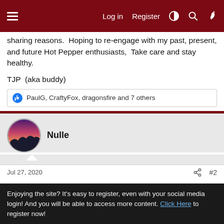Log in  Register
sharing reasons.  Hoping to re-engage with my past, present, and future Hot Pepper enthusiasts,  Take care and stay healthy.
TJP  (aka buddy)
PaulG, CraftyFox, dragonsfire and 7 others
Nulle
Jul 27, 2020  #2
Welcome (back) from Denmark
Enjoying the site? It's easy to register, even with your social media login! And you will be able to access more content. Click Here to register now!